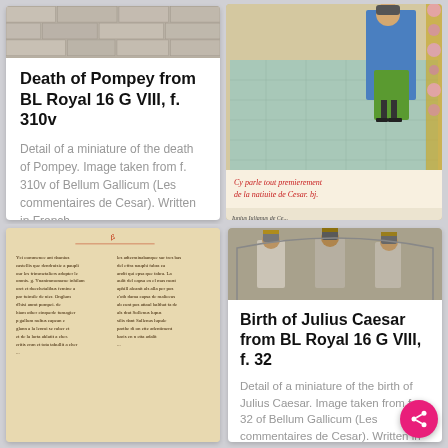[Figure (illustration): Stone wall architectural detail at top of left card thumbnail]
Death of Pompey from BL Royal 16 G VIII, f. 310v
Detail of a miniature of the death of Pompey. Image taken from f. 310v of Bellum Gallicum (Les commentaires de Cesar). Written in French.
[Figure (illustration): Medieval manuscript illumination showing a figure in blue and green robes with red and gold floral border, with French red-letter text caption: 'Cy parle tout premierement de la natiuite de Cesar. bj.']
Birth of Julius Caesar from BL Royal 16 G VIII, f. 32
Detail of a miniature of the birth of Julius Caesar. Image taken from f. 32 of Bellum Gallicum (Les commentaires de Cesar). Written in French.
[Figure (photo): Medieval manuscript page with two columns of Gothic script text in brown ink on cream parchment, with small red bird illustration at top]
[Figure (illustration): Medieval illustration showing three crowned or robed figures standing together, partially visible in bottom-right cell]